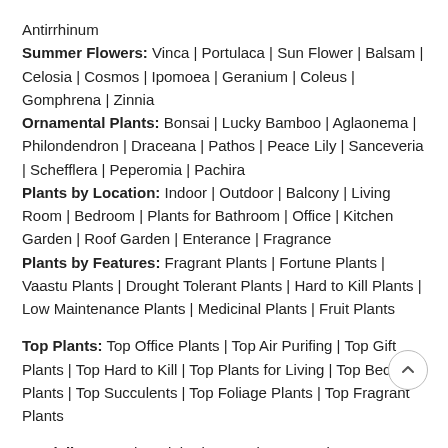Antirrhinum
Summer Flowers: Vinca | Portulaca | Sun Flower | Balsam | Celosia | Cosmos | Ipomoea | Geranium | Coleus | Gomphrena | Zinnia
Ornamental Plants: Bonsai | Lucky Bamboo | Aglaonema | Philondendron | Draceana | Pathos | Peace Lily | Sanceveria | Schefflera | Peperomia | Pachira
Plants by Location: Indoor | Outdoor | Balcony | Living Room | Bedroom | Plants for Bathroom | Office | Kitchen Garden | Roof Garden | Enterance | Fragrance
Plants by Features: Fragrant Plants | Fortune Plants | Vaastu Plants | Drought Tolerant Plants | Hard to Kill Plants | Low Maintenance Plants | Medicinal Plants | Fruit Plants
Top Plants: Top Office Plants | Top Air Purifing | Top Gift Plants | Top Hard to Kill | Top Plants for Living | Top Bedroom Plants | Top Succulents | Top Foliage Plants | Top Fragrant Plants
We deliver @: Ahmedabad, Bangalore, Baroda, Chandigarh, Chennai, Hyderabad, Indore, Kolkata, Mumbai, Nasik, Patna, Pimpri, Puducherry, Pune, Raipur, Ranchi, Trivandrum, Nellor Vijayawada, Visakhapatnam, Warangal, Guwahati, Dhanbad,